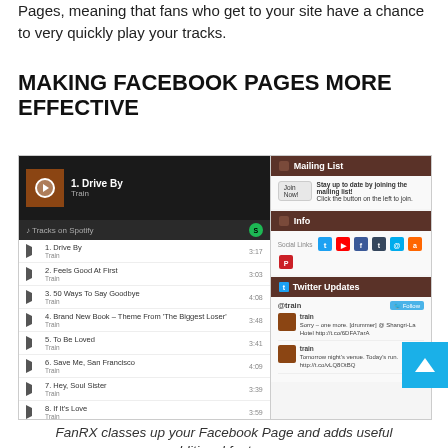Pages, meaning that fans who get to your site have a chance to very quickly play your tracks.
MAKING FACEBOOK PAGES MORE EFFECTIVE
[Figure (screenshot): Screenshot of FanRX Facebook Page enhancement tool showing a music player with tracks by Train on the left (including Drive By, Feels Good At First, 50 Ways To Say Goodbye, Brand New Book, To Be Loved, Save Me San Francisco, Hey Soul Sister, If It's Love, Marry Me, Drops Of Jupiter) and a right sidebar with Mailing List, Info with social links, and Twitter Updates sections showing @train tweets.]
FanRX classes up your Facebook Page and adds useful additional features.
A lot of readers have asked us how they can use Facebook as a better promotion tool for their DJ care and we recommend immediately taking two actions t